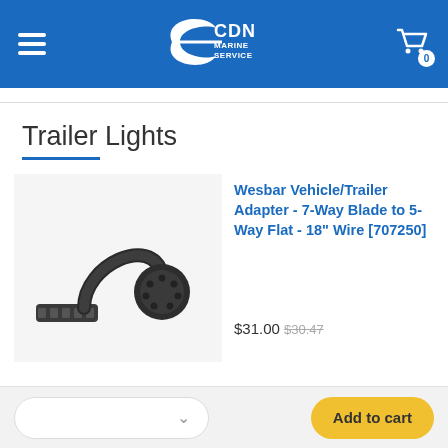CDN Marine Service — navigation header with hamburger menu and cart icon (0 items)
Trailer Lights
[Figure (photo): Wesbar Vehicle/Trailer Adapter cable — black short cable connecting a 7-way blade connector to a 5-way flat connector]
Wesbar Vehicle/Trailer Adapter - 7-Way Blade to 5-Way Flat - 18" Wire [707250]
$31.00  $30.47
Quantity selector dropdown and Add to cart button